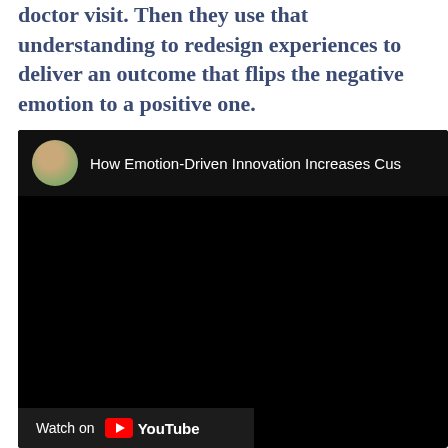doctor visit. Then they use that understanding to redesign experiences to deliver an outcome that flips the negative emotion to a positive one.
[Figure (screenshot): Embedded YouTube video thumbnail showing a woman sitting on a couch with the title 'How Emotion-Driven Innovation Increases Cus...' and a Watch on YouTube button at the bottom left.]